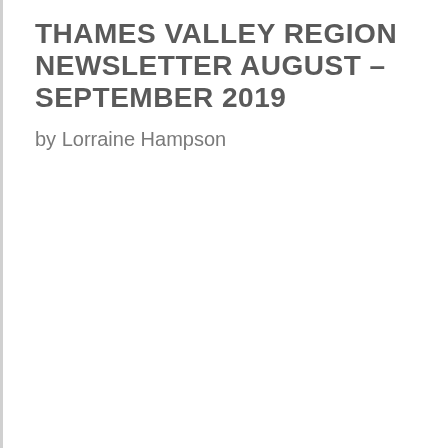THAMES VALLEY REGION NEWSLETTER AUGUST – SEPTEMBER 2019
by Lorraine Hampson